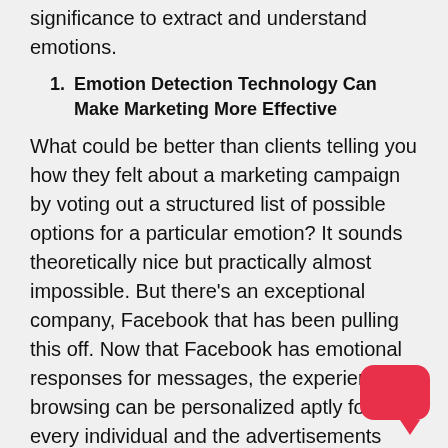significance to extract and understand emotions.
Emotion Detection Technology Can Make Marketing More Effective
What could be better than clients telling you how they felt about a marketing campaign by voting out a structured list of possible options for a particular emotion? It sounds theoretically nice but practically almost impossible. But there's an exceptional company, Facebook that has been pulling this off. Now that Facebook has emotional responses for messages, the experience in browsing can be personalized aptly for every individual and the advertisements user wants are more understandable. The